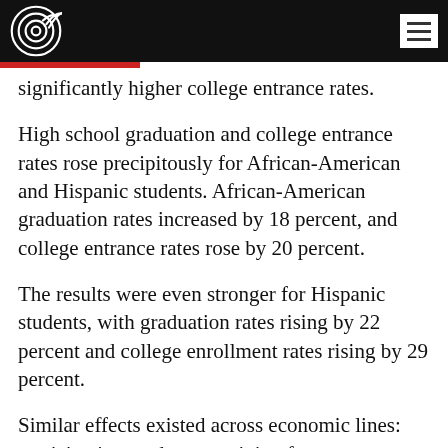[Logo] [Menu button]
significantly higher college entrance rates.
High school graduation and college entrance rates rose precipitously for African-American and Hispanic students. African-American graduation rates increased by 18 percent, and college entrance rates rose by 20 percent.
The results were even stronger for Hispanic students, with graduation rates rising by 22 percent and college enrollment rates rising by 29 percent.
Similar effects existed across economic lines: participating students receiving free or